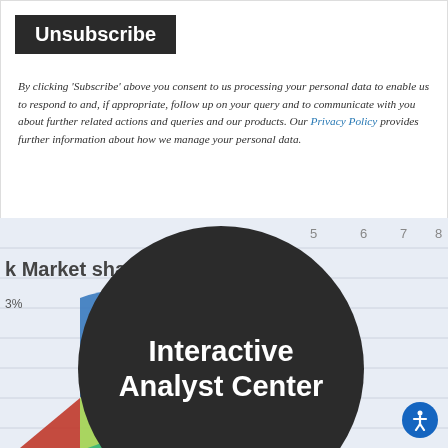Unsubscribe
By clicking ‘Subscribe’ above you consent to us processing your personal data to enable us to respond to and, if appropriate, follow up on your query and to communicate with you about further related actions and queries and our products.  Our Privacy Policy provides further information about how we manage your personal data.
[Figure (other): Background image showing a pie/donut chart with colored segments (blue, red, green) labeled 'k Market sha...' with percentage labels like '3%', and gridlines with numbers 5, 6, 7, 8 along the top. A large dark circular overlay contains the text 'Interactive Analyst Center' in white bold font. A blue accessibility icon is in the bottom-right corner.]